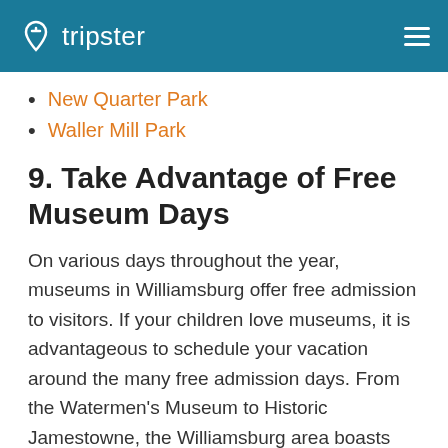tripster
New Quarter Park
Waller Mill Park
9. Take Advantage of Free Museum Days
On various days throughout the year, museums in Williamsburg offer free admission to visitors. If your children love museums, it is advantageous to schedule your vacation around the many free admission days. From the Watermen's Museum to Historic Jamestowne, the Williamsburg area boasts